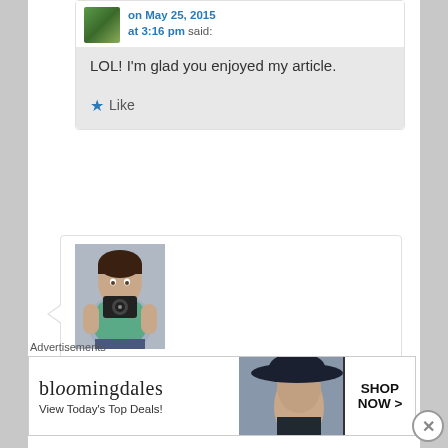on May 25, 2015 at 3:16 pm said:
LOL! I'm glad you enjoyed my article.
Like
[Figure (photo): Profile photo of person holding a camera, taking a self-portrait]
married2arod on May 25, 2015 at 4:10 pm said:
Advertisements
[Figure (screenshot): Bloomingdales advertisement banner: 'bloomingdales View Today's Top Deals! SHOP NOW >']